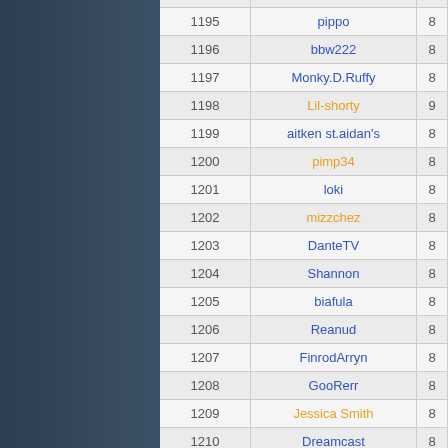| Rank | Username | Score |
| --- | --- | --- |
| 1195 | pippo | 8 |
| 1196 | bbw222 | 8 |
| 1197 | Monky.D.Ruffy | 8 |
| 1198 | Lil-shorty | 9 |
| 1199 | aitken st.aidan's | 8 |
| 1200 | pimp34 | 8 |
| 1201 | loki | 8 |
| 1202 | mizzchez | 8 |
| 1203 | DanteTV | 8 |
| 1204 | Shannon | 8 |
| 1205 | biafula | 8 |
| 1206 | Reanud | 8 |
| 1207 | FinrodArryn | 8 |
| 1208 | GooRerr | 8 |
| 1209 | Jessica Smith | 8 |
| 1210 | Dreamcast | 8 |
| 1211 | boom2 | 8 |